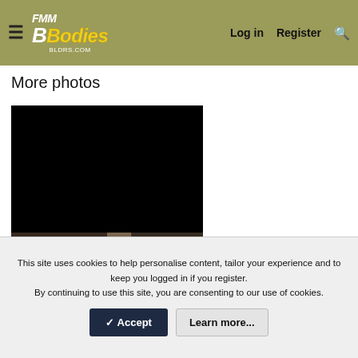BBodies forum — Log in | Register | Search
More photos
[Figure (photo): Two-part photo: top half is completely black (dark/underexposed image), bottom half shows a close-up of a rusty corner seam on what appears to be a car body panel]
This site uses cookies to help personalise content, tailor your experience and to keep you logged in if you register. By continuing to use this site, you are consenting to our use of cookies.
✓ Accept   Learn more...